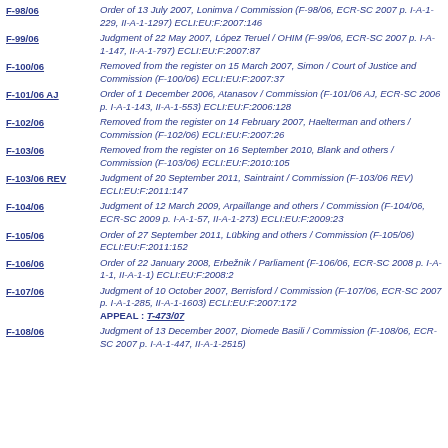F-98/06 | Order of 13 July 2007, Lonimva / Commission (F-98/06, ECR-SC 2007 p. I-A-1-229, II-A-1-1297) ECLI:EU:F:2007:146
F-99/06 | Judgment of 22 May 2007, López Teruel / OHIM (F-99/06, ECR-SC 2007 p. I-A-1-147, II-A-1-797) ECLI:EU:F:2007:87
F-100/06 | Removed from the register on 15 March 2007, Simon / Court of Justice and Commission (F-100/06) ECLI:EU:F:2007:37
F-101/06 AJ | Order of 1 December 2006, Atanasov / Commission (F-101/06 AJ, ECR-SC 2006 p. I-A-1-143, II-A-1-553) ECLI:EU:F:2006:128
F-102/06 | Removed from the register on 14 February 2007, Haelterman and others / Commission (F-102/06) ECLI:EU:F:2007:26
F-103/06 | Removed from the register on 16 September 2010, Blank and others / Commission (F-103/06) ECLI:EU:F:2010:105
F-103/06 REV | Judgment of 20 September 2011, Saintraint / Commission (F-103/06 REV) ECLI:EU:F:2011:147
F-104/06 | Judgment of 12 March 2009, Arpaillange and others / Commission (F-104/06, ECR-SC 2009 p. I-A-1-57, II-A-1-273) ECLI:EU:F:2009:23
F-105/06 | Order of 27 September 2011, Lübking and others / Commission (F-105/06) ECLI:EU:F:2011:152
F-106/06 | Order of 22 January 2008, Erbežnik / Parliament (F-106/06, ECR-SC 2008 p. I-A-1-1, II-A-1-1) ECLI:EU:F:2008:2
F-107/06 | Judgment of 10 October 2007, Berrisford / Commission (F-107/06, ECR-SC 2007 p. I-A-1-285, II-A-1-1603) ECLI:EU:F:2007:172 APPEAL: T-473/07
F-108/06 | Judgment of 13 December 2007, Diomede Basili / Commission (F-108/06, ECR-SC 2007 p. I-A-1-447, II-A-1-2515)